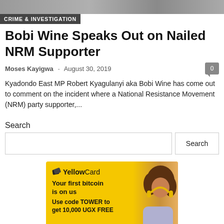CRIME & INVESTIGATION
[Figure (photo): Top photo strip showing people, partially visible]
Bobi Wine Speaks Out on Nailed NRM Supporter
Moses Kayigwa - August 30, 2019
Kyadondo East MP Robert Kyagulanyi aka Bobi Wine has come out to comment on the incident where a National Resistance Movement (NRM) party supporter,...
Search
[Figure (infographic): YellowCard advertisement banner with yellow background. Text: YellowCard. Your first bitcoin is on us. Use code TOWER to get 10,000 UGX FREE. Shows a woman with curly hair and yellow headphones.]